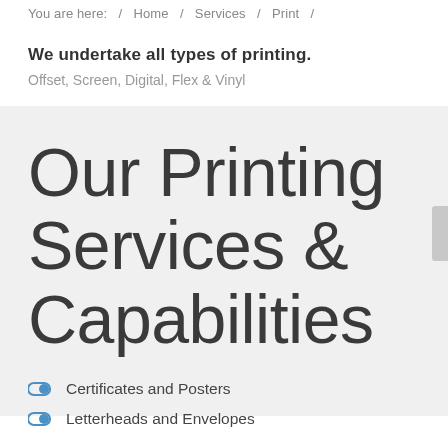You are here:  /  Home  /  Services  /  Print  /
We undertake all types of printing.
Offset, Screen, Digital, Flex & Vinyl
Our Printing Services & Capabilities
Certificates and Posters
Letterheads and Envelopes